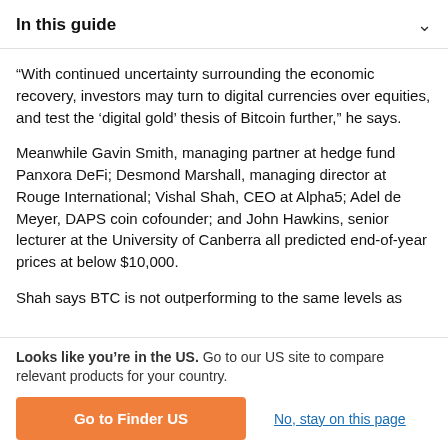In this guide
“With continued uncertainty surrounding the economic recovery, investors may turn to digital currencies over equities, and test the ‘digital gold’ thesis of Bitcoin further,” he says.
Meanwhile Gavin Smith, managing partner at hedge fund Panxora DeFi; Desmond Marshall, managing director at Rouge International; Vishal Shah, CEO at Alpha5; Adel de Meyer, DAPS coin cofounder; and John Hawkins, senior lecturer at the University of Canberra all predicted end-of-year prices at below $10,000.
Shah says BTC is not outperforming to the same levels as
Looks like you’re in the US. Go to our US site to compare relevant products for your country.
Go to Finder US
No, stay on this page